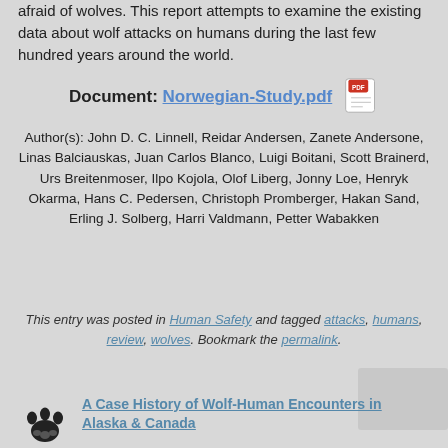afraid of wolves. This report attempts to examine the existing data about wolf attacks on humans during the last few hundred years around the world.
Document: Norwegian-Study.pdf [PDF icon]
Author(s): John D. C. Linnell, Reidar Andersen, Zanete Andersone, Linas Balciauskas, Juan Carlos Blanco, Luigi Boitani, Scott Brainerd, Urs Breitenmoser, Ilpo Kojola, Olof Liberg, Jonny Loe, Henryk Okarma, Hans C. Pedersen, Christoph Promberger, Hakan Sand, Erling J. Solberg, Harri Valdmann, Petter Wabakken
This entry was posted in Human Safety and tagged attacks, humans, review, wolves. Bookmark the permalink.
A Case History of Wolf-Human Encounters in Alaska & Canada